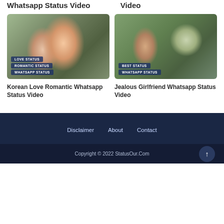Whatsapp Status Video
Video
[Figure (photo): Korean couple romantic photo with badges: LOVE STATUS, ROMANTIC STATUS, WHATSAPP STATUS]
Korean Love Romantic Whatsapp Status Video
[Figure (photo): Jealous girlfriend scene photo with badges: BEST STATUS, WHATSAPP STATUS]
Jealous Girlfriend Whatsapp Status Video
Disclaimer  About  Contact
Copyright © 2022 StatusOur.Com